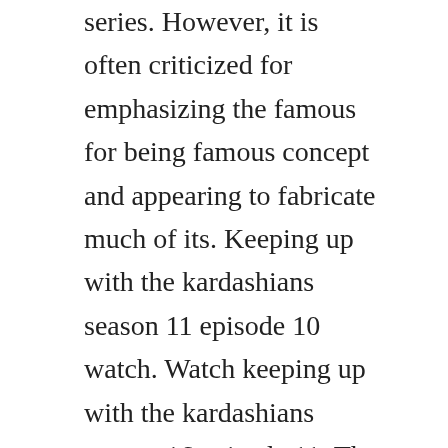series. However, it is often criticized for emphasizing the famous for being famous concept and appearing to fabricate much of its. Keeping up with the kardashians season 11 episode 10 watch. Watch keeping up with the kardashians season 16 episode 11. The family confronts the challenges of adjusting to their new structure headon, hoping to forge even stronger connections a.
Kylie jenner struggles with her postbaby body and kim k. Kourtney attempts to find a new status quo with scott. Hosts discuss keeping up with the kardashians for the giving back